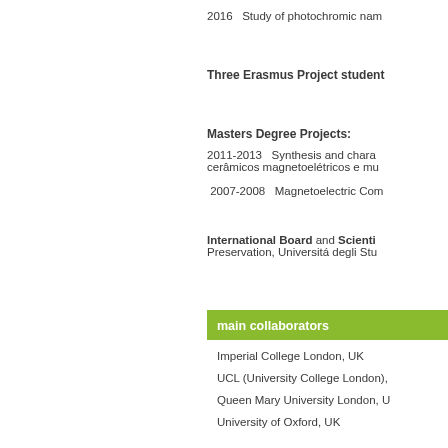2016   Study of photochromic nam
Three Erasmus Project student
Masters Degree Projects:
2011-2013   Synthesis and chara cerâmicos magnetoelétricos e mu
2007-2008   Magnetoelectric Com
International Board and Scienti Preservation, Universitá degli Stu
main collaborators
Imperial College London, UK
UCL (University College London),
Queen Mary University London, U
University of Oxford, UK